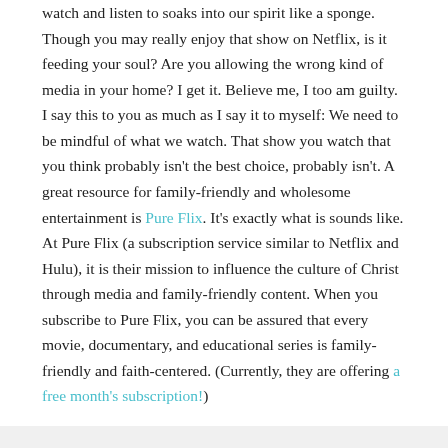watch and listen to soaks into our spirit like a sponge. Though you may really enjoy that show on Netflix, is it feeding your soul? Are you allowing the wrong kind of media in your home? I get it. Believe me, I too am guilty. I say this to you as much as I say it to myself: We need to be mindful of what we watch. That show you watch that you think probably isn't the best choice, probably isn't. A great resource for family-friendly and wholesome entertainment is Pure Flix. It's exactly what is sounds like. At Pure Flix (a subscription service similar to Netflix and Hulu), it is their mission to influence the culture of Christ through media and family-friendly content. When you subscribe to Pure Flix, you can be assured that every movie, documentary, and educational series is family-friendly and faith-centered. (Currently, they are offering a free month's subscription!)